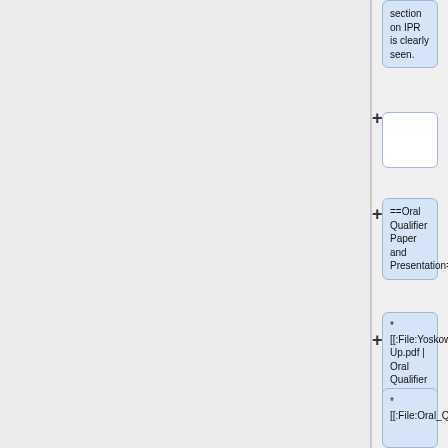section on IPR is clearly seen.
+
==Oral Qualifier Paper and Presentation==
+ [[:File:Yoskowitz_Oral_Qualifier_Write-Up.pdf | Oral Qualifier Paper]] -- 2/27/19 Contains current ionization Theory of Ghost Beam
* [[:File:Oral_Qua